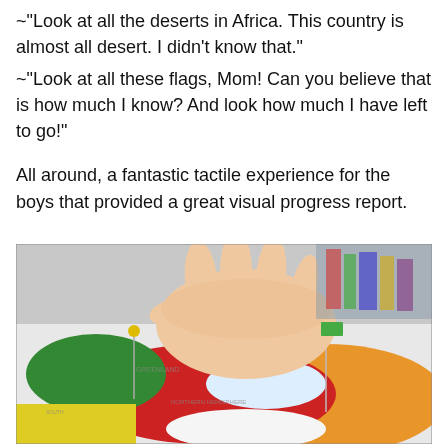~"Look at all the deserts in Africa. This country is almost all desert. I didn't know that."
~"Look at all these flags, Mom! Can you believe that is how much I know? And look how much I have left to go!"

All around, a fantastic tactile experience for the boys that provided a great visual progress report.
[Figure (photo): A child's hand placing small flag pins onto a colorful world map, with green, red, orange, and white regions visible on the map.]